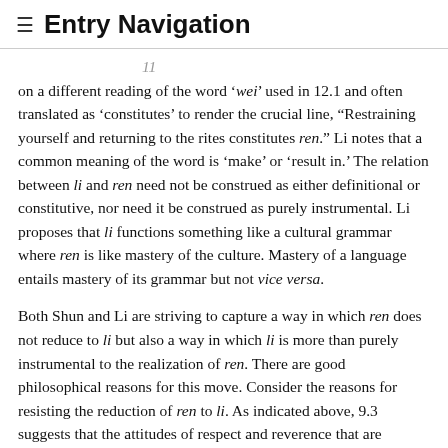≡ Entry Navigation
on a different reading of the word 'wei' used in 12.1 and often translated as 'constitutes' to render the crucial line, "Restraining yourself and returning to the rites constitutes ren." Li notes that a common meaning of the word is 'make' or 'result in.' The relation between li and ren need not be construed as either definitional or constitutive, nor need it be construed as purely instrumental. Li proposes that li functions something like a cultural grammar where ren is like mastery of the culture. Mastery of a language entails mastery of its grammar but not vice versa.
Both Shun and Li are striving to capture a way in which ren does not reduce to li but also a way in which li is more than purely instrumental to the realization of ren. There are good philosophical reasons for this move. Consider the reasons for resisting the reduction of ren to li. As indicated above, 9.3 suggests that the attitudes of respect and reverence that are expressed by ritual forms are not reducible to any particular set of such forms, and Shun has a point in arguing that such attitudes could be